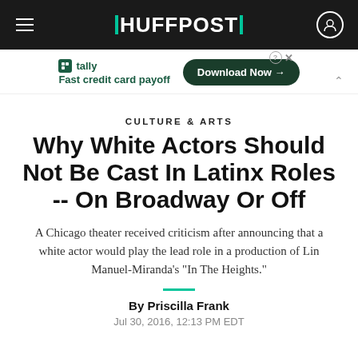HUFFPOST
[Figure (other): Tally app advertisement banner: 'Fast credit card payoff' with a 'Download Now' button]
CULTURE & ARTS
Why White Actors Should Not Be Cast In Latinx Roles -- On Broadway Or Off
A Chicago theater received criticism after announcing that a white actor would play the lead role in a production of Lin Manuel-Miranda's "In The Heights."
By Priscilla Frank
Jul 30, 2016, 12:13 PM EDT